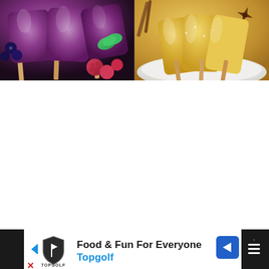[Figure (photo): Two food photos side by side: left shows dark purple berry popsicles/ice lollies on a plate with raspberries, blueberries and mint leaves; right shows yellow mango or vanilla popsicles on a white plate with star anise and cinnamon sticks]
[Figure (screenshot): Advertisement banner at bottom: black background with white content area showing Topgolf logo (shield shape) and text 'Food & Fun For Everyone' and 'Topgolf' in blue, with navigation arrow icon and right-side weather/menu icon]